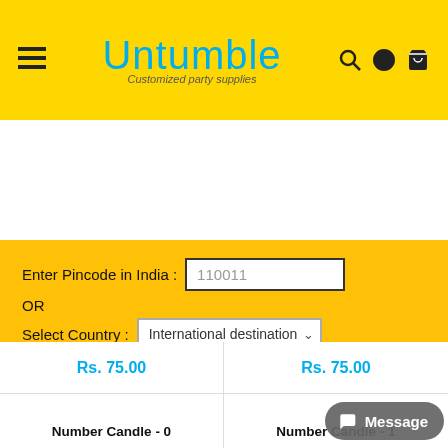[Figure (screenshot): Untumble website header with hamburger menu, logo, search, WhatsApp and cart icons on yellow background]
Enter Pincode in India : 110011
OR
Select Country : International destination
Apply
Cancel
Rs. 75.00
Rs. 75.00
Number Candle - 0
Number Candle - 1
Message